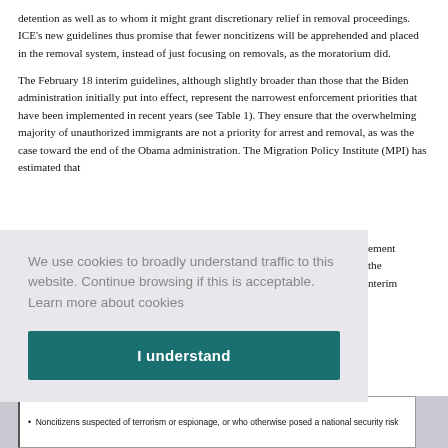detention as well as to whom it might grant discretionary relief in removal proceedings. ICE's new guidelines thus promise that fewer noncitizens will be apprehended and placed in the removal system, instead of just focusing on removals, as the moratorium did.
The February 18 interim guidelines, although slightly broader than those that the Biden administration initially put into effect, represent the narrowest enforcement priorities that have been implemented in recent years (see Table 1). They ensure that the overwhelming majority of unauthorized immigrants are not a priority for arrest and removal, as was the case toward the end of the Obama administration. The Migration Policy Institute (MPI) has estimated that
ement the nterim
[Figure (other): Cookie consent overlay with text 'We use cookies to broadly understand traffic to this website. Continue browsing if this is acceptable. Learn more about cookies' and an 'I understand' button]
| Noncitizens suspected of terrorism or espionage, or who otherwise posed a national security risk |